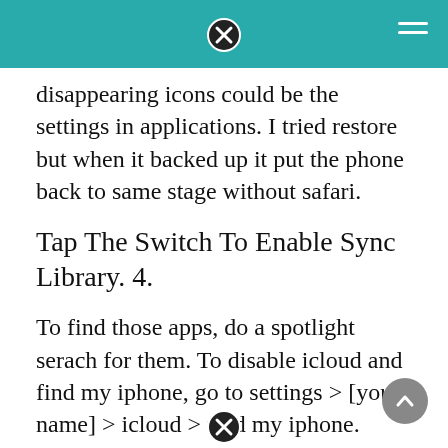disappearing icons could be the settings in applications. I tried restore but when it backed up it put the phone back to same stage without safari.
Tap The Switch To Enable Sync Library. 4.
To find those apps, do a spotlight serach for them. To disable icloud and find my iphone, go to settings > [your name] > icloud > find my iphone. Itunes may ask for your apple id password and to confirm before actually restoring your iphone to factory settings.